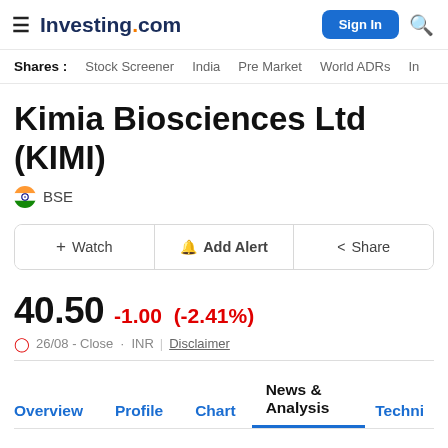Investing.com — Sign In
Shares : Stock Screener  India  Pre Market  World ADRs  In
Kimia Biosciences Ltd (KIMI)
BSE
+ Watch   Add Alert   Share
40.50  -1.00  (-2.41%)
26/08 - Close · INR  |  Disclaimer
Overview  Profile  Chart  News & Analysis  Techni